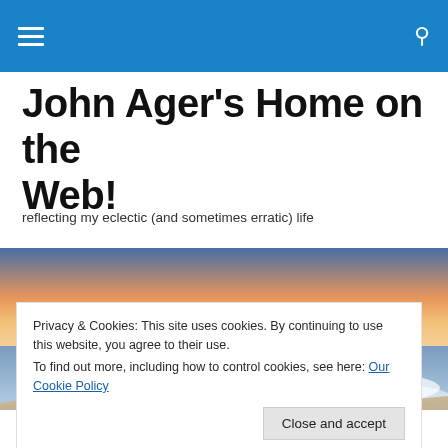Navigation bar with hamburger menu and search icon
John Ager's Home on the Web!
reflecting my eclectic (and sometimes erratic) life
[Figure (photo): Beach sunset photo showing ocean waves on a sandy shore with an orange and pink sky]
Privacy & Cookies: This site uses cookies. By continuing to use this website, you agree to their use.
To find out more, including how to control cookies, see here: Our Cookie Policy
Close and accept
Preludes (T. S. Eliot)